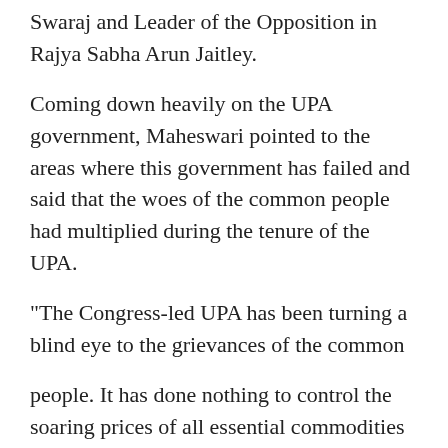Swaraj and Leader of the Opposition in Rajya Sabha Arun Jaitley.
Coming down heavily on the UPA government, Maheswari pointed to the areas where this government has failed and said that the woes of the common people had multiplied during the tenure of the UPA.
"The Congress-led UPA has been turning a blind eye to the grievances of the common
people. It has done nothing to control the soaring prices of all essential commodities including foodgrain," said Maheswari.